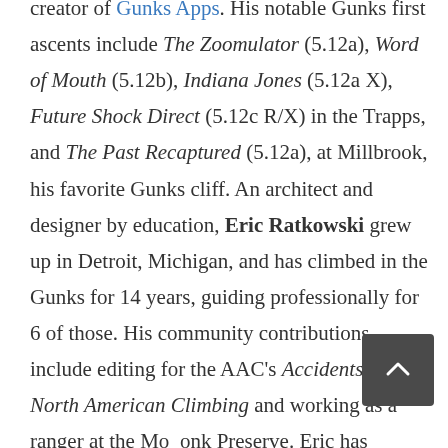creator of Gunks Apps. His notable Gunks first ascents include The Zoomulator (5.12a), Word of Mouth (5.12b), Indiana Jones (5.12a X), Future Shock Direct (5.12c R/X) in the Trapps, and The Past Recaptured (5.12a), at Millbrook, his favorite Gunks cliff. An architect and designer by education, Eric Ratkowski grew up in Detroit, Michigan, and has climbed in the Gunks for 14 years, guiding professionally for 6 of those. His community contributions include editing for the AAC's Accidents in North American Climbing and working as a ranger at the Mohonk Preserve. Eric has climbed in eight